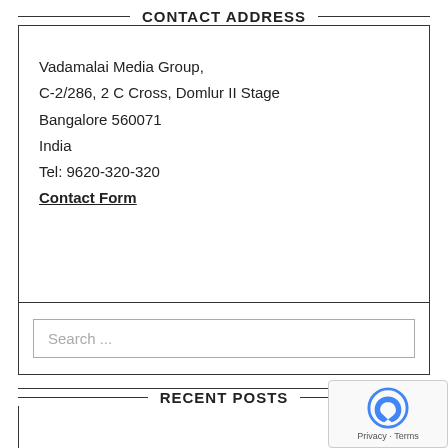CONTACT ADDRESS
Vadamalai Media Group,
C-2/286, 2 C Cross, Domlur II Stage
Bangalore 560071
India
Tel: 9620-320-320
Contact Form
Search ...
RECENT POSTS